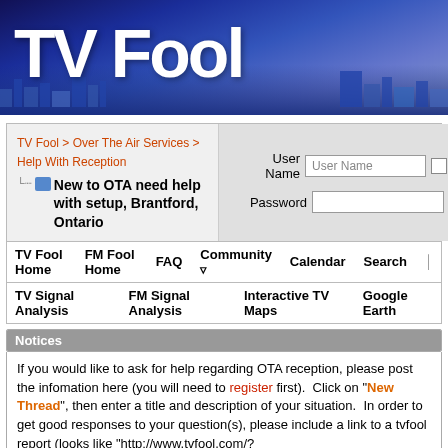[Figure (illustration): TV Fool website banner with blue/purple cityscape background and large white 'TV Fool' text logo]
TV Fool > Over The Air Services > Help With Reception
New to OTA need help with setup, Brantford, Ontario
User Name [User Name] [checkbox] Remember Me?
Password [] [Log in]
TV Fool Home   FM Fool Home   FAQ   Community   Calendar   Search
TV Signal Analysis   FM Signal Analysis   Interactive TV Maps   Google Earth
Notices
If you would like to ask for help regarding OTA reception, please post the infomation here (you will need to register first).  Click on "New Thread", then enter a title and description of your situation.  In order to get good responses to your question(s), please include a link to a tvfool report (looks like "http://www.tvfool.com/?option=com_wrapper&Itemid=29&q=id%xxxxxxxxxxxxxxx") for your location.